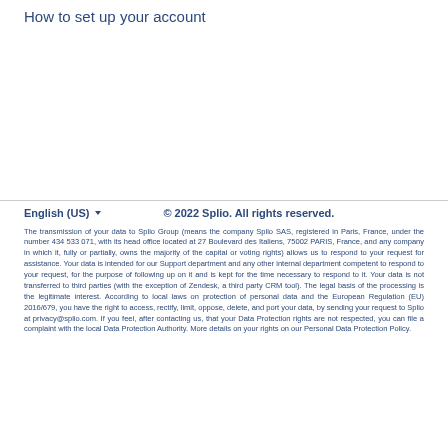How to set up your account
English (US)   © 2022 Splio. All rights reserved.
The transmission of your data to Splio Group (means the company Splio SAS, registered in Paris, France, under the number 434 533 071, with its head office located at 27 Boulevard des Italiens, 75002 PARIS, France, and any company in which it, fully or partially, owns the majority of the capital or voting rights) allows us to respond to your request for assistance. Your data is intended for our Support department and any other internal department competent to respond to your request, for the purpose of following up on it and is kept for the time necessary to respond to it. Your data is not transferred to third parties (with the exception of Zendesk, a third party CRM tool). The legal basis of the processing is the legitimate interest. According to local laws on protection of personal data and the European Regulation (EU) 2016/679, you have the right to access, rectify, limit, oppose, delete, and port your data, by sending your request to Splio at privacy@splio.com. If you feel, after contacting us, that your Data Protection rights are not respected, you can file a complaint with the local Data Protection Authority. More details on your rights on our Personal Data Protection Policy.